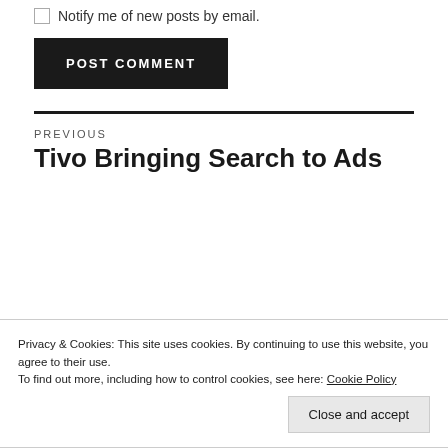Notify me of new posts by email.
POST COMMENT
PREVIOUS
Tivo Bringing Search to Ads
Privacy & Cookies: This site uses cookies. By continuing to use this website, you agree to their use.
To find out more, including how to control cookies, see here: Cookie Policy
Close and accept